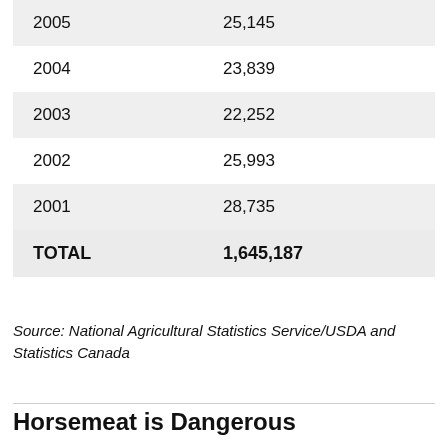| Year | Value |
| --- | --- |
| 2005 | 25,145 |
| 2004 | 23,839 |
| 2003 | 22,252 |
| 2002 | 25,993 |
| 2001 | 28,735 |
| TOTAL | 1,645,187 |
Source: National Agricultural Statistics Service/USDA and Statistics Canada
Horsemeat is Dangerous